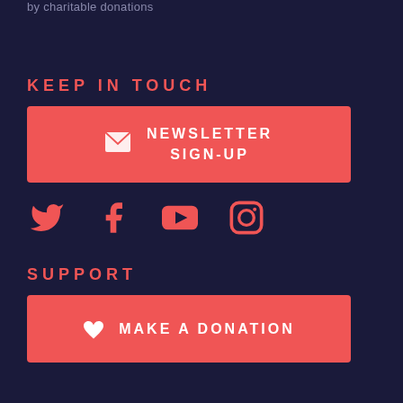by charitable donations
KEEP IN TOUCH
NEWSLETTER SIGN-UP
[Figure (infographic): Social media icons: Twitter, Facebook, YouTube, Instagram]
SUPPORT
MAKE A DONATION